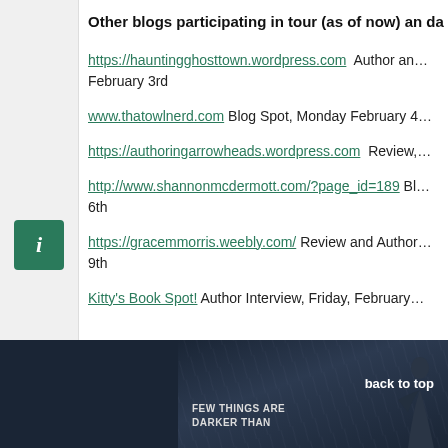Other blogs participating in tour (as of now) an da
https://hauntingghosttown.wordpress.com  Author and February 3rd
www.thatowlnerd.com Blog Spot, Monday February 4
https://authoringarrowheads.wordpress.com  Review,
http://www.shannonmcdermott.com/?page_id=189  Bl 6th
https://gracemmorris.weebly.com/ Review and Author 9th
Kitty's Book Spot! Author Interview, Friday, February
[Figure (photo): Book cover image with dark rainy background, text reads FEW THINGS ARE DARKER THAN, with a back to top link overlay]